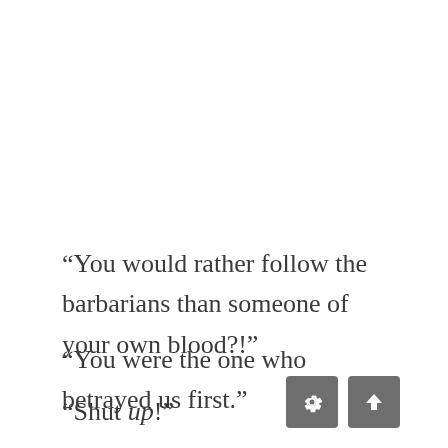“You would rather follow the barbarians than someone of your own blood?!”
“You were the one who betrayed us first.”
“Shut up!”